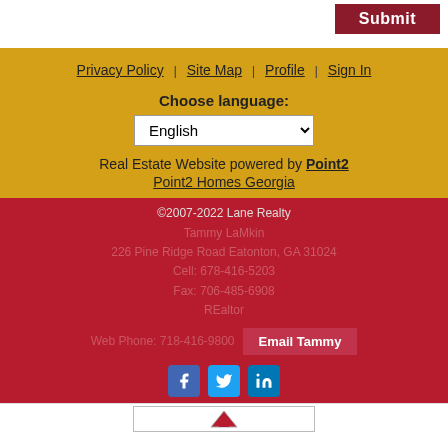[Figure (screenshot): Submit button (dark red) in upper right corner of white section]
Privacy Policy | Site Map | Profile | Sign In
Choose language:
English (dropdown)
Real Estate Website powered by Point2
Point2 Homes Georgia
©2007-2022 Lane Realty
Tammy LaMkin
226 Pine Ridge Road Eatonton, GA 31024
Cell: 678-416-5203
Fax: 706-485-6908
REaltor
Web Phone: 718-416-9800
Email Tammy
[Figure (logo): Social media icons: Facebook, Twitter, LinkedIn]